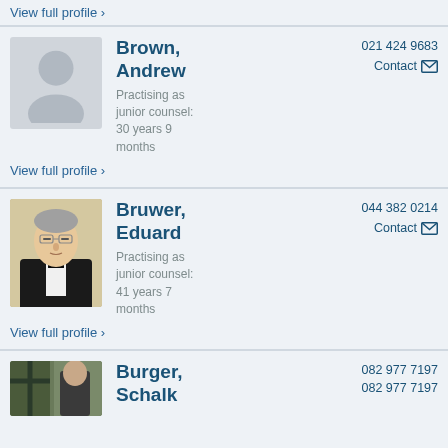View full profile ›
Brown, Andrew
Practising as junior counsel: 30 years 9 months
021 424 9683
Contact
View full profile ›
Bruwer, Eduard
Practising as junior counsel: 41 years 7 months
044 382 0214
Contact
View full profile ›
Burger, Schalk
082 977 7197
082 977 7197